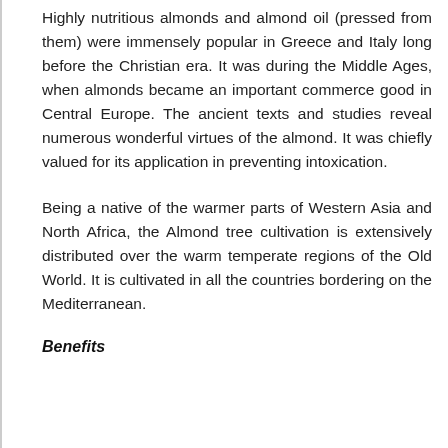Highly nutritious almonds and almond oil (pressed from them) were immensely popular in Greece and Italy long before the Christian era. It was during the Middle Ages, when almonds became an important commerce good in Central Europe. The ancient texts and studies reveal numerous wonderful virtues of the almond. It was chiefly valued for its application in preventing intoxication.
Being a native of the warmer parts of Western Asia and North Africa, the Almond tree cultivation is extensively distributed over the warm temperate regions of the Old World. It is cultivated in all the countries bordering on the Mediterranean.
Benefits